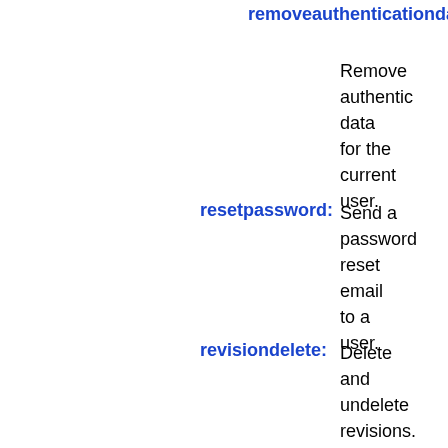removeauthenticationdata: Remove authentication data for the current user.
resetpassword: Send a password reset email to a user.
revisiondelete: Delete and undelete revisions.
rollback: Undo